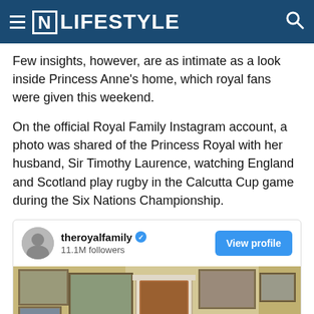[N] LIFESTYLE
Few insights, however, are as intimate as a look inside Princess Anne's home, which royal fans were given this weekend.
On the official Royal Family Instagram account, a photo was shared of the Princess Royal with her husband, Sir Timothy Laurence, watching England and Scotland play rugby in the Calcutta Cup game during the Six Nations Championship.
[Figure (screenshot): Instagram embed showing theroyalfamily account with 11.1M followers and a View profile button, with a partial photo of a room with paintings on a yellow wall and a fireplace.]